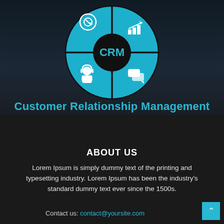[Figure (infographic): CRM wheel diagram — a blue circular diagram divided into 4 segments with white icons: a target/goal icon (top-left), a bar chart/analytics icon (top-right), a customer service/headset person icon (bottom-left), and a chat/messaging bubbles icon (bottom-right). The center is a black circle with 'CRM' written in bold white text. Set against a dark city skyline background.]
Customer Relationship Management
ABOUT US
Lorem Ipsum is simply dummy text of the printing and typesetting industry. Lorem Ipsum has been the industry's standard dummy text ever since the 1500s.
Contact us: contact@yoursite.com